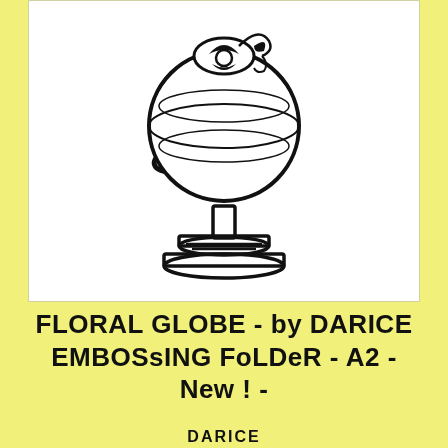[Figure (illustration): Black and white line drawing of a decorative globe with floral design on top and a tiered base]
FLORAL GLOBE - by DARICE EMBOSsING FoLDeR - A2 - New ! -
DARICE
$3.95
Shipping calculated at checkout.